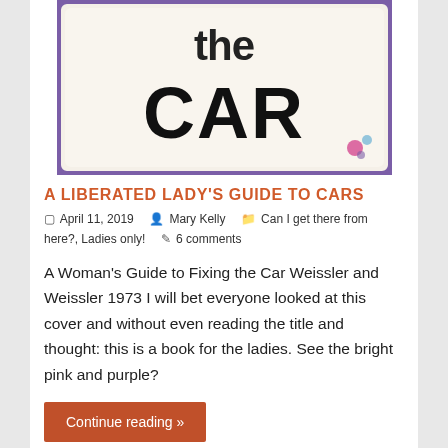[Figure (photo): Book cover showing the text 'the CAR' in large bold black letters on a light background with a purple decorative border and small colorful design element in the bottom right corner.]
A LIBERATED LADY'S GUIDE TO CARS
April 11, 2019   Mary Kelly   Can I get there from here?, Ladies only!   6 comments
A Woman's Guide to Fixing the Car Weissler and Weissler 1973 I will bet everyone looked at this cover and without even reading the title and thought: this is a book for the ladies. See the bright pink and purple?
Continue reading »